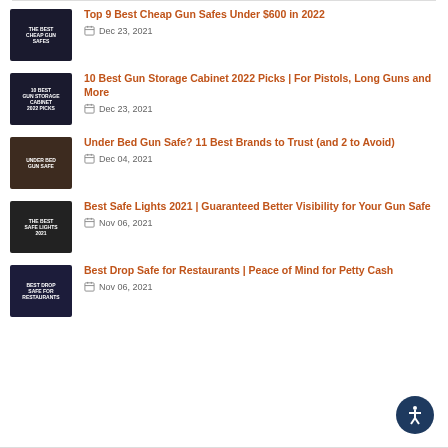Top 9 Best Cheap Gun Safes Under $600 in 2022 — Dec 23, 2021
10 Best Gun Storage Cabinet 2022 Picks | For Pistols, Long Guns and More — Dec 23, 2021
Under Bed Gun Safe? 11 Best Brands to Trust (and 2 to Avoid) — Dec 04, 2021
Best Safe Lights 2021 | Guaranteed Better Visibility for Your Gun Safe — Nov 06, 2021
Best Drop Safe for Restaurants | Peace of Mind for Petty Cash — Nov 06, 2021